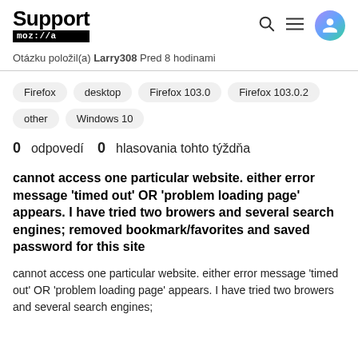Support mozilla:// [search icon] [menu icon] [user icon]
Otázku položil(a) Larry308 Pred 8 hodinami
Firefox   desktop   Firefox 103.0   Firefox 103.0.2   other   Windows 10
0 odpovedí   0 hlasovania tohto týždňa
cannot access one particular website. either error message 'timed out' OR 'problem loading page' appears. I have tried two browers and several search engines; removed bookmark/favorites and saved password for this site
cannot access one particular website. either error message 'timed out' OR 'problem loading page' appears. I have tried two browers and several search engines;